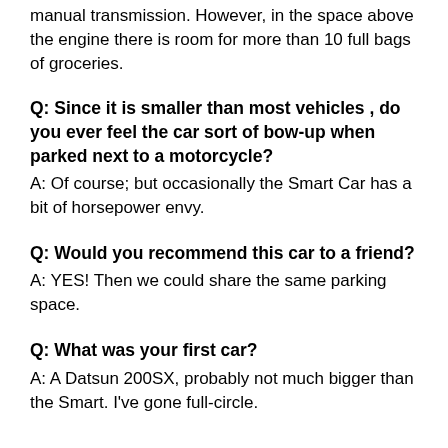manual transmission. However, in the space above the engine there is room for more than 10 full bags of groceries.
Q: Since it is smaller than most vehicles , do you ever feel the car sort of bow-up when parked next to a motorcycle?
A: Of course; but occasionally the Smart Car has a bit of horsepower envy.
Q: Would you recommend this car to a friend?
A: YES! Then we could share the same parking space.
Q: What was your first car?
A: A Datsun 200SX, probably not much bigger than the Smart. I've gone full-circle.